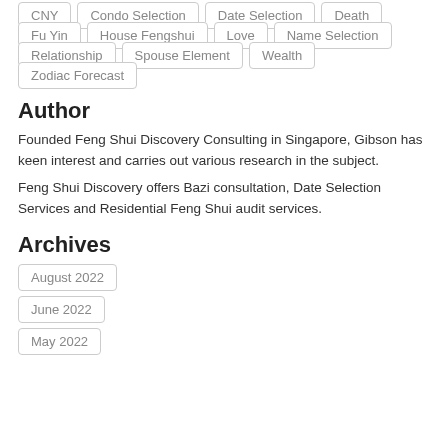CNY
Condo Selection
Date Selection
Death
Fu Yin
House Fengshui
Love
Name Selection
Relationship
Spouse Element
Wealth
Zodiac Forecast
Author
Founded Feng Shui Discovery Consulting in Singapore, Gibson has keen interest and carries out various research in the subject.
Feng Shui Discovery offers Bazi consultation, Date Selection Services and Residential Feng Shui audit services.
Archives
August 2022
June 2022
May 2022